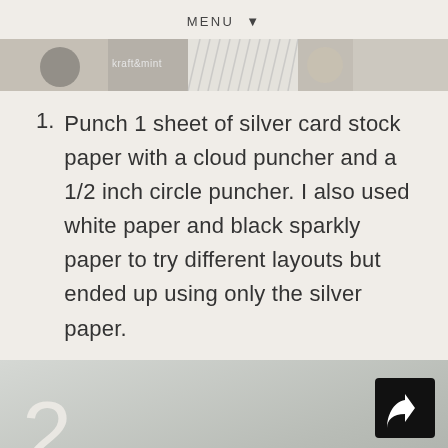MENU ▾
[Figure (photo): Horizontal strip of product/material photos showing paper samples including kraft and mint labeled paper, tan/gold paper, white with diagonal lines pattern, and a tan circular object]
Punch 1 sheet of silver card stock paper with a cloud puncher and a 1/2 inch circle puncher. I also used white paper and black sparkly paper to try different layouts but ended up using only the silver paper.
[Figure (photo): Step 2 photo showing a gray/silver background with a gold glittery paper piece visible at the bottom, with a share button icon in the top right corner]